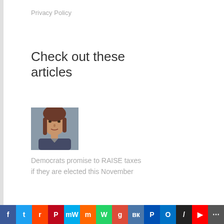Privacy Policy
Check out these articles
[Figure (photo): Headshot of a woman with shoulder-length brown hair, wearing a dark jacket]
Democrats promise to RAISE taxes if they are elected this November
[Figure (photo): Person in blue gloves working in a laboratory setting]
Immune-
stimulating drug may